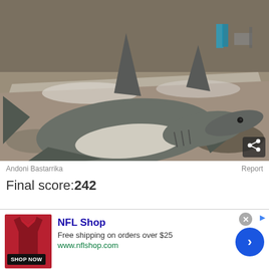[Figure (photo): A large hammerhead shark lying dead on a beach or rocky surface. The shark is grey on top and white underneath with fins visible. People and beach chairs can be seen in the background. A share button icon is in the bottom-right corner of the image.]
Andoni Bastarrika
Report
Final score:242
[Figure (infographic): NFL Shop advertisement. Shows a dark red NFL jersey image on the left with a SHOP NOW button below it. Text reads: NFL Shop, Free shipping on orders over $25, www.nflshop.com. A blue circular arrow button is on the right. There is an X close button and a small arrow ad indicator at the top right.]